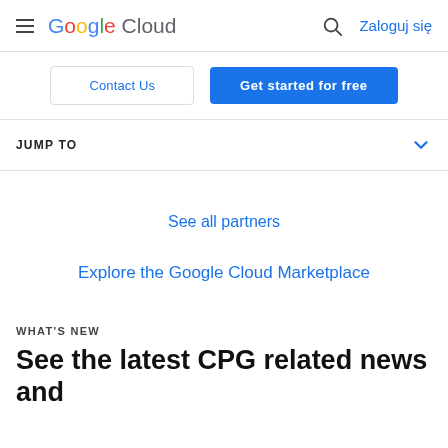Google Cloud — Zaloguj się
Contact Us
Get started for free
JUMP TO
See all partners
Explore the Google Cloud Marketplace
WHAT'S NEW
See the latest CPG related news and